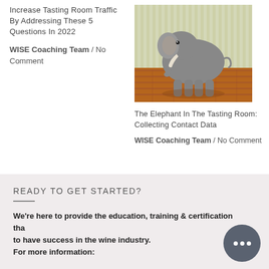Increase Tasting Room Traffic By Addressing These 5 Questions In 2022
WISE Coaching Team  /  No Comment
[Figure (photo): Photograph of an elephant standing on a wooden floor inside a room with vertical striped wallpaper]
The Elephant In The Tasting Room: Collecting Contact Data
WISE Coaching Team  /  No Comment
READY TO GET STARTED?
We're here to provide the education, training & certification tha to have success in the wine industry.
For more information: